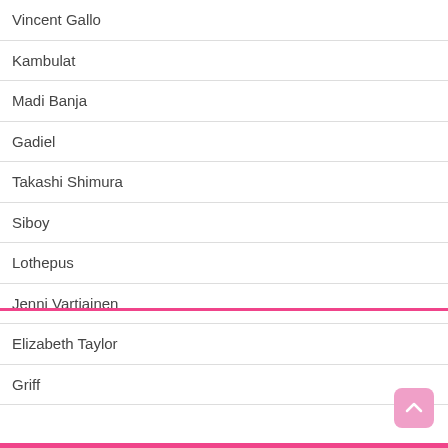Vincent Gallo
Kambulat
Madi Banja
Gadiel
Takashi Shimura
Siboy
Lothepus
Jenni Vartiainen
Elizabeth Taylor
Griff